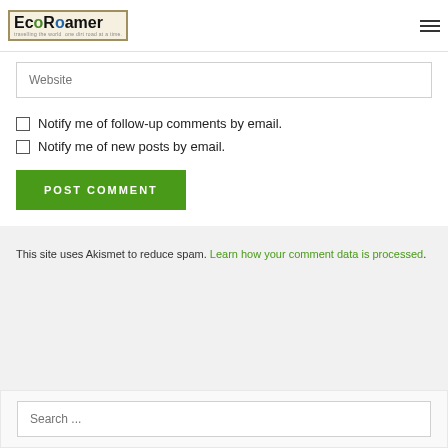EcoRoamer - travelling the world one dirt road at a time
Website
Notify me of follow-up comments by email.
Notify me of new posts by email.
POST COMMENT
This site uses Akismet to reduce spam. Learn how your comment data is processed.
Search ...